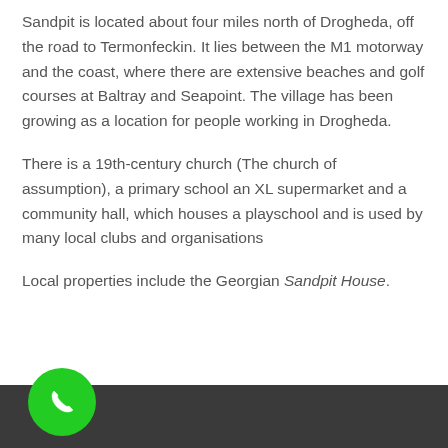Sandpit is located about four miles north of Drogheda, off the road to Termonfeckin. It lies between the M1 motorway and the coast, where there are extensive beaches and golf courses at Baltray and Seapoint. The village has been growing as a location for people working in Drogheda.
There is a 19th-century church (The church of assumption), a primary school an XL supermarket and a community hall, which houses a playschool and is used by many local clubs and organisations
Local properties include the Georgian Sandpit House.
[Figure (illustration): Green circular call button with white phone handset icon, positioned over a gray and dark footer bar]